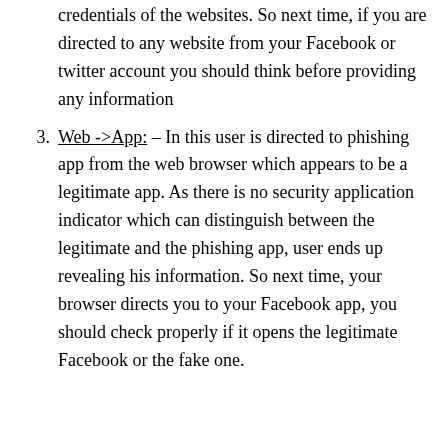credentials of the websites. So next time, if you are directed to any website from your Facebook or twitter account you should think before providing any information
Web ->App: – In this user is directed to phishing app from the web browser which appears to be a legitimate app. As there is no security application indicator which can distinguish between the legitimate and the phishing app, user ends up revealing his information. So next time, your browser directs you to your Facebook app, you should check properly if it opens the legitimate Facebook or the fake one.